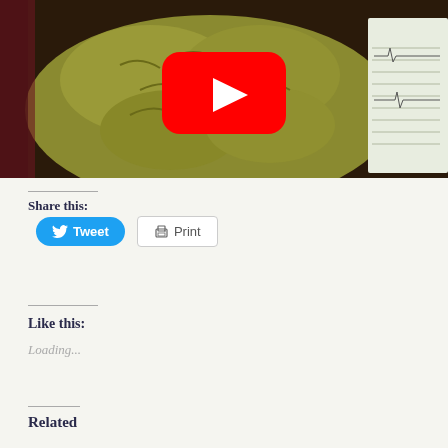[Figure (photo): A preserved human brain specimen displayed in a museum or lab setting, with a YouTube play button overlay in the center. To the right is a partially visible paper or chart. The image has a yellowish-green tint.]
Share this:
Tweet
Print
Like this:
Loading...
Related